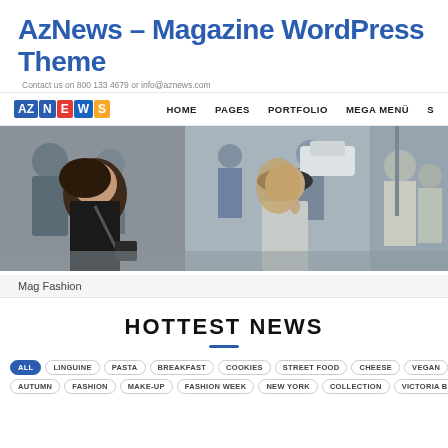AzNews – Magazine WordPress Theme
Contact us on 800 133 4679 or info@aznews.com
AZ NEWS | HOME  PAGES  PORTFOLIO  MEGA MENÜ  S
[Figure (photo): Street fashion photo showing people in an urban setting; a woman in a black outfit with curly hair on left, a woman in a grey coat and hat in center, and more people in the background.]
Mag Fashion
HOTTEST NEWS
ALL  LINGUINE  PASTA  BREAKFAST  COOKIES  STREET FOOD  CHEESE  VEGAN  PAPAYA  SALAD  THAI FOO
AUTUMN  FASHION  MAKE-UP  FASHION WEEK  NEW YORK  COLLECTION  VICTORIA BECKHAM  SO